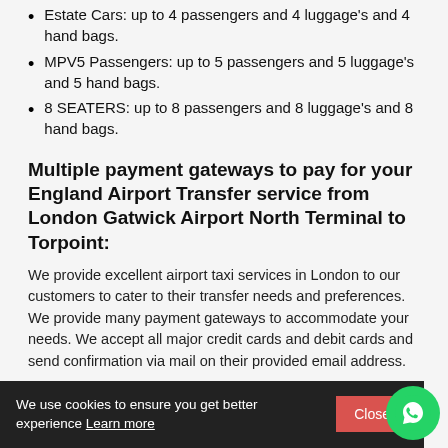Estate Cars: up to 4 passengers and 4 luggage's and 4 hand bags.
MPV5 Passengers: up to 5 passengers and 5 luggage's and 5 hand bags.
8 SEATERS: up to 8 passengers and 8 luggage's and 8 hand bags.
Multiple payment gateways to pay for your England Airport Transfer service from London Gatwick Airport North Terminal to Torpoint:
We provide excellent airport taxi services in London to our customers to cater to their transfer needs and preferences. We provide many payment gateways to accommodate your needs. We accept all major credit cards and debit cards and send confirmation via mail on their provided email address.
Comfortable free baby seats for your England Airport Transfer service from London Gatwick Airport North Terminal to